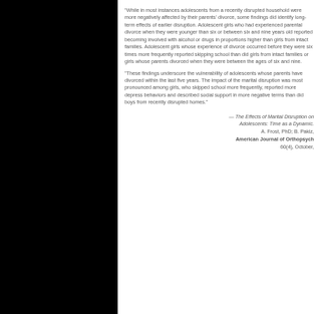"While in most instances adolescents from a recently disrupted household were more negatively affected by their parents' divorce, some findings did identify long-term effects of earlier disruption. Adolescent girls who had experienced parental divorce when they were younger than six or between six and nine years old reported becoming involved with alcohol or drugs in proportions higher than girls from intact families. Adolescent girls whose experience of divorce occurred before they were six times more frequently reported skipping school than did girls from intact families or girls whose parents divorced when they were between the ages of six and nine.
"These findings underscore the vulnerability of adolescents whose parents have divorced within the last five years. The impact of the marital disruption was most pronounced among girls, who skipped school more frequently, reported more depress behaviors and described social support in more negative terms than did boys from recently disrupted homes."
— The Effects of Marital Disruption on Adolescents: Time as a Dynamic. A. Frost, PhD; B. Pakiz, American Journal of Orthopsychiatry 60(4), October,